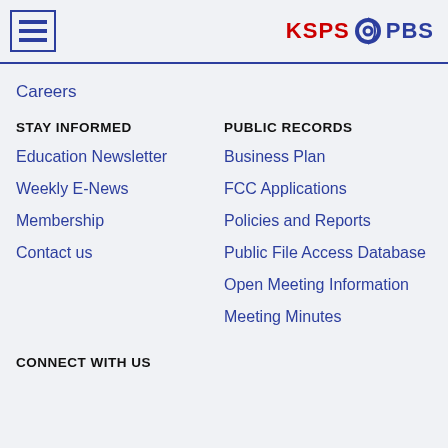KSPS PBS
Careers
STAY INFORMED
Education Newsletter
Weekly E-News
Membership
Contact us
PUBLIC RECORDS
Business Plan
FCC Applications
Policies and Reports
Public File Access Database
Open Meeting Information
Meeting Minutes
CONNECT WITH US